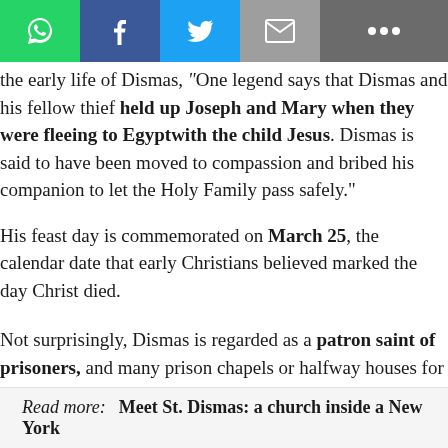the early life of Dismas, "One legend says that Dismas and his fellow thief held up Joseph and Mary when they were fleeing to Egyptwith the child Jesus. Dismas is said to have been moved to compassion and bribed his companion to let the Holy Family pass safely."
His feast day is commemorated on March 25, the calendar date that early Christians believed marked the day Christ died.
Not surprisingly, Dismas is regarded as a patron saint of prisoners, and many prison chapels or halfway houses for ex-convicts have been named for him.
Read more:  Meet St. Dismas: a church inside a New York